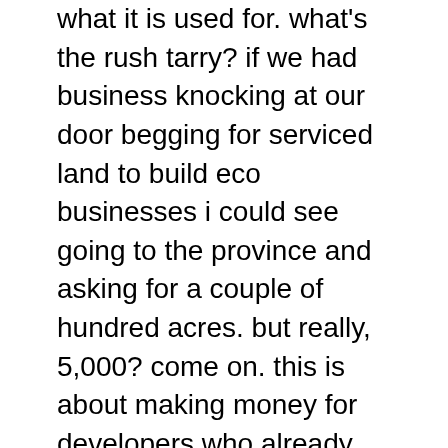what it is used for. what's the rush tarry? if we had business knocking at our door begging for serviced land to build eco businesses i could see going to the province and asking for a couple of hundred acres. but really, 5,000? come on. this is about making money for developers who already have an interest in the lands that are being included in the expansion. pure and simple. buy it cheap from farmers and sell it to whoever comes along at ten times the price after the your buddies at the city build you some nice roads and sewers. sounds like a capatilist's wet dream to me. unfortunately, like any commodity, the more there is the less the